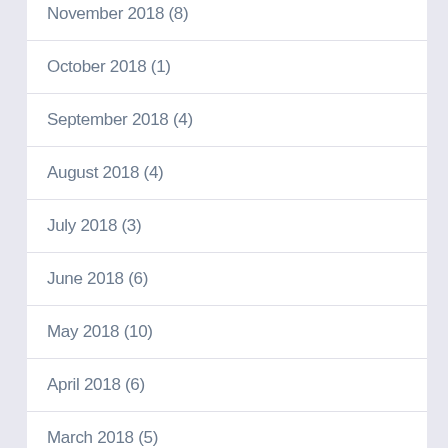November 2018 (8)
October 2018 (1)
September 2018 (4)
August 2018 (4)
July 2018 (3)
June 2018 (6)
May 2018 (10)
April 2018 (6)
March 2018 (5)